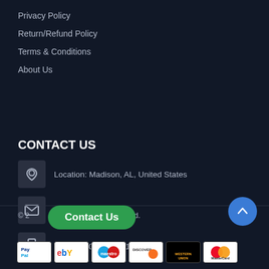Privacy Policy
Return/Refund Policy
Terms & Conditions
About Us
CONTACT US
Location: Madison, AL, United States
Send us a message
Phone 800-383-1541
© 20  All Rights Reserved.
Contact Us
[Figure (other): Payment method icons: PayPal, eBay, Maestro, Discover, Western Union, MasterCard]